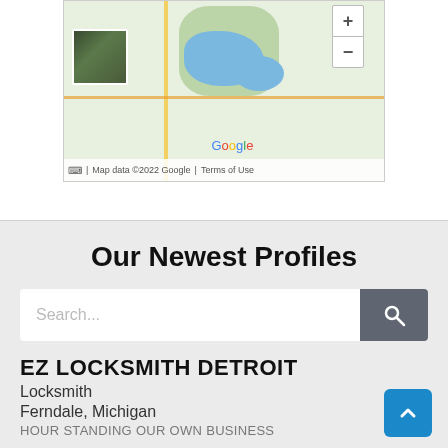[Figure (map): Google Maps partial view showing a region with water bodies, green areas, satellite thumbnail in bottom-left, zoom controls top-right, Google logo, and map data footer reading 'Map data ©2022 Google | Terms of Use']
Our Newest Profiles
[Figure (screenshot): Search bar with placeholder text 'Search...' and a dark grey search button with magnifying glass icon]
EZ LOCKSMITH DETROIT
Locksmith
Ferndale, Michigan
HOUR STANDING OUR OWN BUSINESS